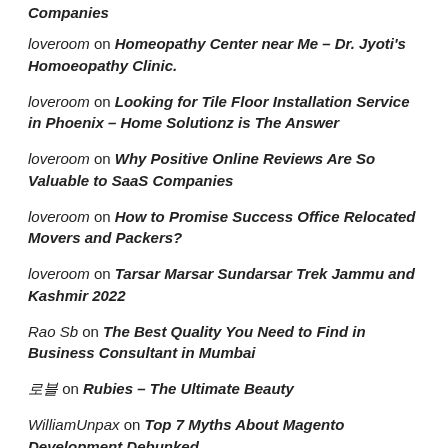Companies
loveroom on Homeopathy Center near Me – Dr. Jyoti's Homoeopathy Clinic.
loveroom on Looking for Tile Floor Installation Service in Phoenix – Home Solutionz is The Answer
loveroom on Why Positive Online Reviews Are So Valuable to SaaS Companies
loveroom on How to Promise Success Office Relocated Movers and Packers?
loveroom on Tarsar Marsar Sundarsar Trek Jammu and Kashmir 2022
Rao Sb on The Best Quality You Need to Find in Business Consultant in Mumbai
로블 on Rubies – The Ultimate Beauty
WilliamUnpax on Top 7 Myths About Magento Development Debunked